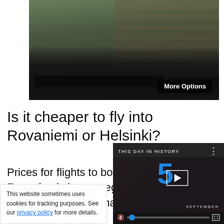[Figure (photo): Photo of black SUV/car vehicles parked in front of a brick building with trees, with a 'More Options' button overlay in the bottom right]
Is it cheaper to fly into Rovaniemi or Helsinki?
Prices for flights to both Helsinki and Rovaniemi change regularly based on dates and travel demand best prices for yo
This website sometimes uses cookies for tracking purposes. See our privacy policy for more details.
[Figure (screenshot): Video player overlay showing 'THIS DAY IN HISTORY' with a large blue number 5, a play button, 'SEPTEMBER' label, mute icon, progress bar with blue dot, and fullscreen button]